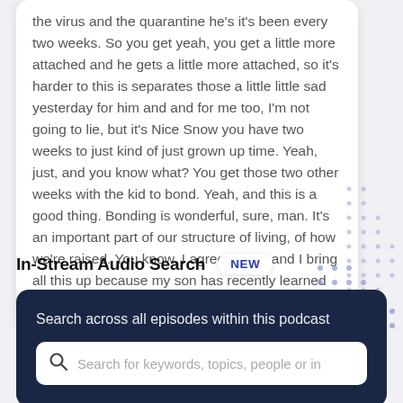the virus and the quarantine he's it's been every two weeks. So you get yeah, you get a little more attached and he gets a little more attached, so it's harder to this is separates those a little little sad yesterday for him and and for me too, I'm not going to lie, but it's Nice Snow you have two weeks to just kind of just grown up time. Yeah, just, and you know what? You get those two other weeks with the kid to bond. Yeah, and this is a good thing. Bonding is wonderful, sure, man. It's an important part of our structure of living, of how we're raised. You know, I agree. Yeah, and I bring all this up because my son has recently learned how to ride a bike. Dude, of no
In-Stream Audio Search
NEW
Search across all episodes within this podcast
Search for keywords, topics, people or in